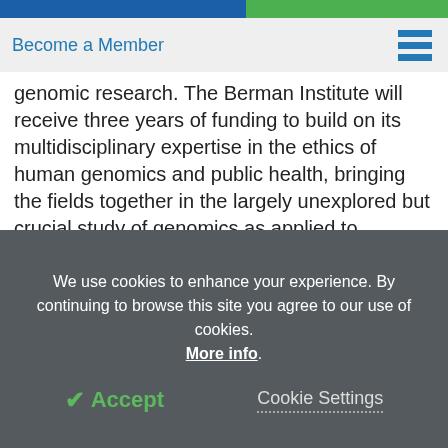Become a Member
genomic research. The Berman Institute will receive three years of funding to build on its multidisciplinary expertise in the ethics of human genomics and public health, bringing the fields together in the largely unexplored but crucial study of genomics as applied to infectious disease. The center will be known as GUIDE: Genomic Uses in Infectious Disease & Epidemics.
Pandemic scares in recent years, from SARS to
We use cookies to enhance your experience. By continuing to browse this site you agree to our use of cookies. More info.
✔ Accept   Cookie Settings